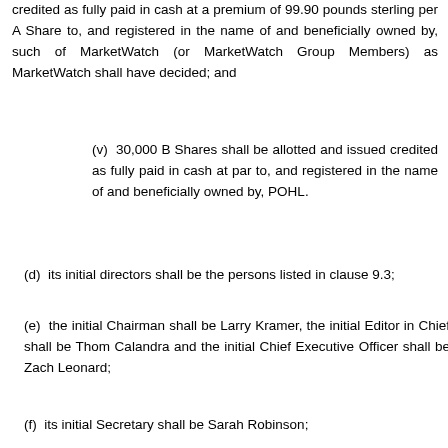credited as fully paid in cash at a premium of 99.90 pounds sterling per A Share to, and registered in the name of and beneficially owned by, such of MarketWatch (or MarketWatch Group Members) as MarketWatch shall have decided; and
(v) 30,000 B Shares shall be allotted and issued credited as fully paid in cash at par to, and registered in the name of and beneficially owned by, POHL.
(d) its initial directors shall be the persons listed in clause 9.3;
(e) the initial Chairman shall be Larry Kramer, the initial Editor in Chief shall be Thom Calandra and the initial Chief Executive Officer shall be Zach Leonard;
(f) its initial Secretary shall be Sarah Robinson;